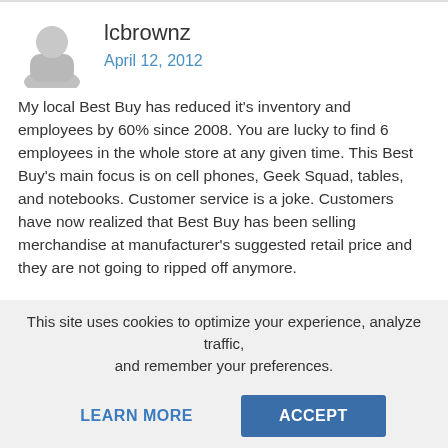lcbrownz
April 12, 2012
My local Best Buy has reduced it's inventory and employees by 60% since 2008. You are lucky to find 6 employees in the whole store at any given time. This Best Buy's main focus is on cell phones, Geek Squad, tables, and notebooks. Customer service is a joke. Customers have now realized that Best Buy has been selling merchandise at manufacturer's suggested retail price and they are not going to ripped off anymore.
bhennon
April 12, 2012
This site uses cookies to optimize your experience, analyze traffic, and remember your preferences.
LEARN MORE
ACCEPT